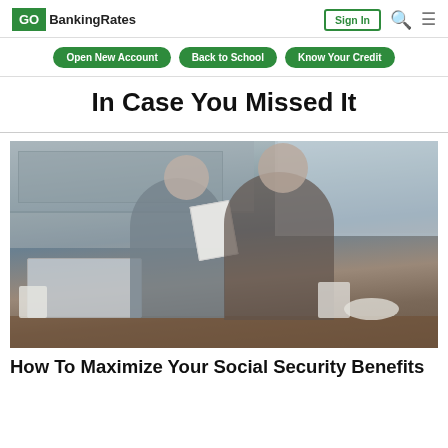GOBankingRates | Sign In
Open New Account
Back to School
Know Your Credit
In Case You Missed It
[Figure (photo): Elderly couple sitting at kitchen table reviewing a document together, with a laptop open in front of them. Kitchen with cabinets and window visible in background.]
How To Maximize Your Social Security Benefits